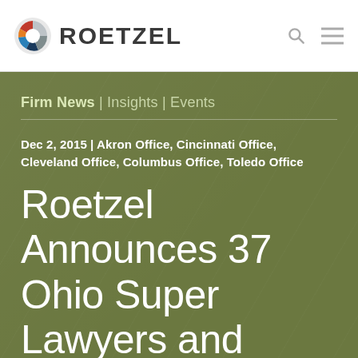[Figure (logo): Roetzel law firm logo with circular multi-color icon and bold text 'ROETZEL']
Firm News | Insights | Events
Dec 2, 2015 | Akron Office, Cincinnati Office, Cleveland Office, Columbus Office, Toledo Office
Roetzel Announces 37 Ohio Super Lawyers and Rising Stars